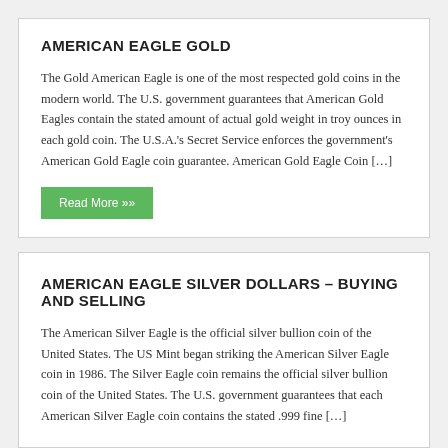AMERICAN EAGLE GOLD
The Gold American Eagle is one of the most respected gold coins in the modern world. The U.S. government guarantees that American Gold Eagles contain the stated amount of actual gold weight in troy ounces in each gold coin. The U.S.A.'s Secret Service enforces the government's American Gold Eagle coin guarantee. American Gold Eagle Coin […]
AMERICAN EAGLE SILVER DOLLARS – BUYING AND SELLING
The American Silver Eagle is the official silver bullion coin of the United States. The US Mint began striking the American Silver Eagle coin in 1986. The Silver Eagle coin remains the official silver bullion coin of the United States. The U.S. government guarantees that each American Silver Eagle coin contains the stated .999 fine […]